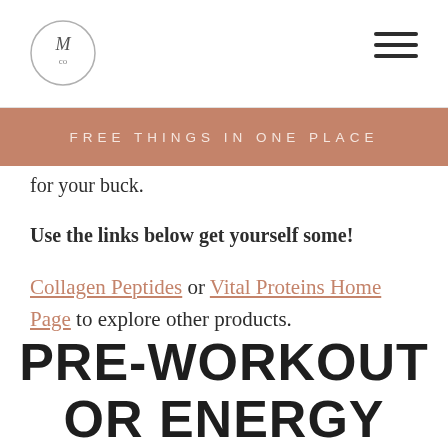M co logo and hamburger menu
FREE THINGS IN ONE PLACE
for your buck.
Use the links below get yourself some!
Collagen Peptides or Vital Proteins Home Page to explore other products.
PRE-WORKOUT OR ENERGY